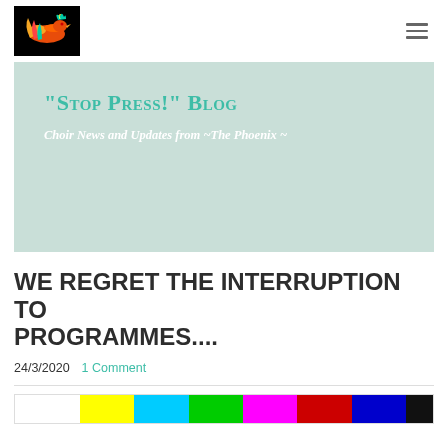[Figure (logo): Phoenix choir logo — colorful bird on black background]
"Stop Press!" Blog
Choir News and Updates from ~The Phoenix ~
WE REGRET THE INTERRUPTION TO PROGRAMMES....
24/3/2020   1 Comment
[Figure (photo): TV test card color bars strip at bottom of page]